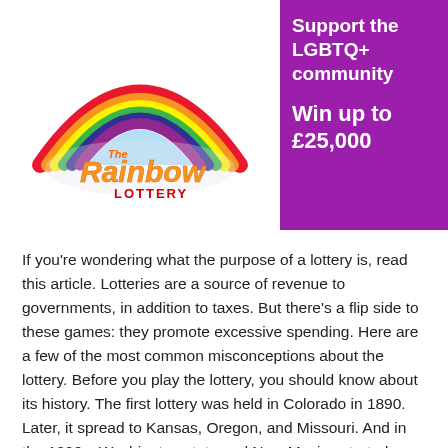[Figure (logo): The Rainbow Lottery logo with a colorful rainbow arc, stars, and stylized golden script text reading 'The Rainbow Lottery']
Support the LGBTQ+ community

Win up to £25,000
If you're wondering what the purpose of a lottery is, read this article. Lotteries are a source of revenue to governments, in addition to taxes. But there's a flip side to these games: they promote excessive spending. Here are a few of the most common misconceptions about the lottery. Before you play the lottery, you should know about its history. The first lottery was held in Colorado in 1890. Later, it spread to Kansas, Oregon, and Missouri. And in the 1990s, Washington state and New Mexico started running their own.
Lotteries are a form of gambling